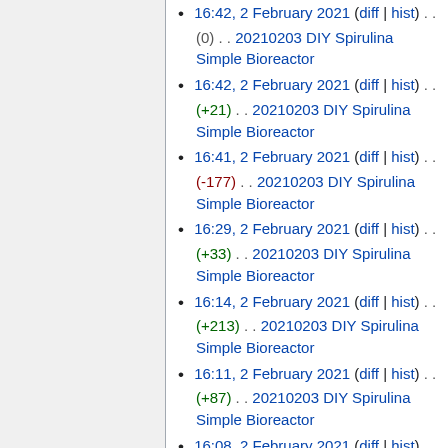16:42, 2 February 2021 (diff | hist) . . (0) . . 20210203 DIY Spirulina Simple Bioreactor
16:42, 2 February 2021 (diff | hist) . . (+21) . . 20210203 DIY Spirulina Simple Bioreactor
16:41, 2 February 2021 (diff | hist) . . (-177) . . 20210203 DIY Spirulina Simple Bioreactor
16:29, 2 February 2021 (diff | hist) . . (+33) . . 20210203 DIY Spirulina Simple Bioreactor
16:14, 2 February 2021 (diff | hist) . . (+213) . . 20210203 DIY Spirulina Simple Bioreactor
16:11, 2 February 2021 (diff | hist) . . (+87) . . 20210203 DIY Spirulina Simple Bioreactor
16:08, 2 February 2021 (diff | hist) . . (0) . . N File:Tartine spirulina.png